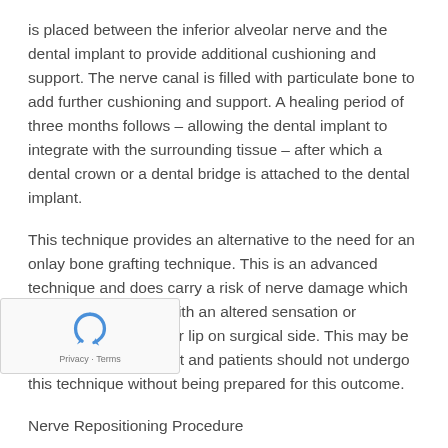is placed between the inferior alveolar nerve and the dental implant to provide additional cushioning and support. The nerve canal is filled with particulate bone to add further cushioning and support. A healing period of three months follows – allowing the dental implant to integrate with the surrounding tissue – after which a dental crown or a dental bridge is attached to the dental implant.
This technique provides an alternative to the need for an onlay bone grafting technique. This is an advanced technique and does carry a risk of nerve damage which may leave a patient with an altered sensation or numbness of the lower lip on surgical side. This may be transient or permanent and patients should not undergo this technique without being prepared for this outcome.
Nerve Repositioning Procedure
The dentist or dental surgeon makes an incision on the patient's gums and lower jaw bone.